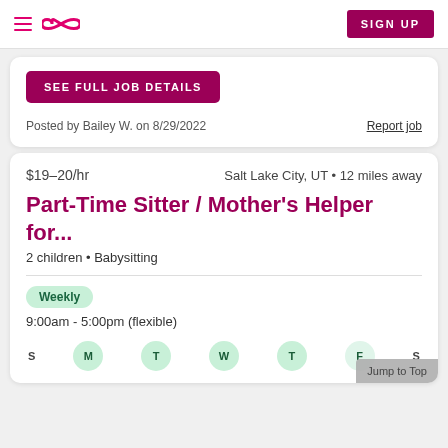Sittercity navigation bar with hamburger menu, logo, and SIGN UP button
SEE FULL JOB DETAILS
Posted by Bailey W. on 8/29/2022
Report job
$19–20/hr   Salt Lake City, UT • 12 miles away
Part-Time Sitter / Mother's Helper for...
2 children • Babysitting
Weekly
9:00am - 5:00pm (flexible)
S  M  T  W  T  F  S